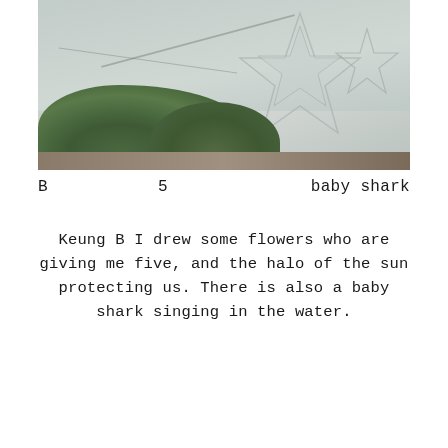[Figure (photo): Photo of a concrete wall with star/geometric shapes and green bushes/shrubs at the bottom, outdoor scene]
B    5    baby shark
Keung B  I drew some flowers who are giving me five, and the halo of the sun protecting us. There is also a baby shark singing in the water.